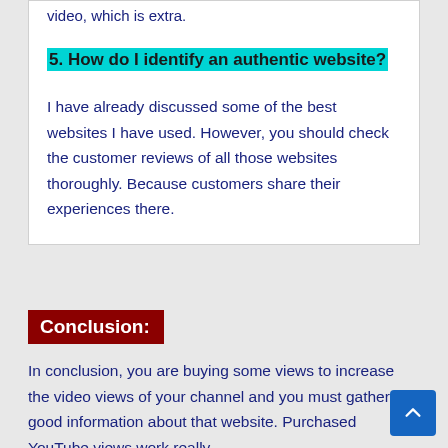video, which is extra.
5. How do I identify an authentic website?
I have already discussed some of the best websites I have used. However, you should check the customer reviews of all those websites thoroughly. Because customers share their experiences there.
Conclusion:
In conclusion, you are buying some views to increase the video views of your channel and you must gather good information about that website. Purchased YouTube views work really